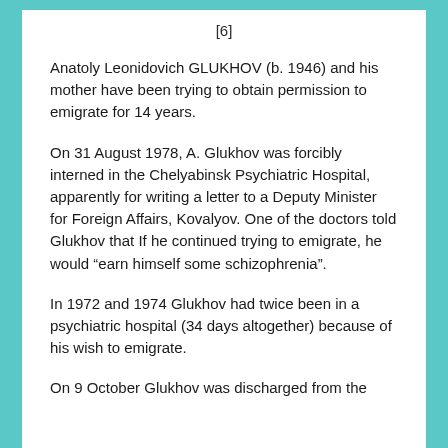[6]
Anatoly Leonidovich GLUKHOV (b. 1946) and his mother have been trying to obtain permission to emigrate for 14 years.
On 31 August 1978, A. Glukhov was forcibly interned in the Chelyabinsk Psychiatric Hospital, apparently for writing a letter to a Deputy Minister for Foreign Affairs, Kovalyov. One of the doctors told Glukhov that If he continued trying to emigrate, he would “earn himself some schizophrenia”.
In 1972 and 1974 Glukhov had twice been in a psychiatric hospital (34 days altogether) because of his wish to emigrate.
On 9 October Glukhov was discharged from the